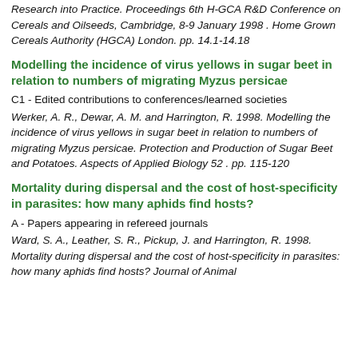Research into Practice. Proceedings 6th H-GCA R&D Conference on Cereals and Oilseeds, Cambridge, 8-9 January 1998 . Home Grown Cereals Authority (HGCA) London. pp. 14.1-14.18
Modelling the incidence of virus yellows in sugar beet in relation to numbers of migrating Myzus persicae
C1 - Edited contributions to conferences/learned societies
Werker, A. R., Dewar, A. M. and Harrington, R. 1998. Modelling the incidence of virus yellows in sugar beet in relation to numbers of migrating Myzus persicae. Protection and Production of Sugar Beet and Potatoes. Aspects of Applied Biology 52 . pp. 115-120
Mortality during dispersal and the cost of host-specificity in parasites: how many aphids find hosts?
A - Papers appearing in refereed journals
Ward, S. A., Leather, S. R., Pickup, J. and Harrington, R. 1998. Mortality during dispersal and the cost of host-specificity in parasites: how many aphids find hosts? Journal of Animal